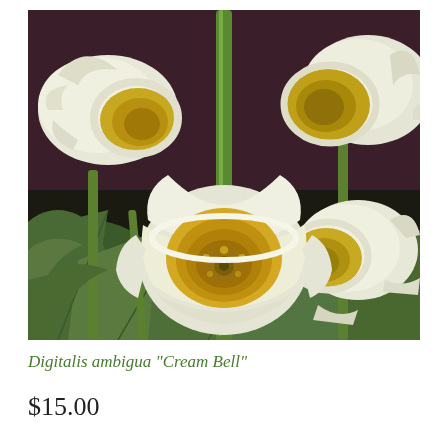[Figure (photo): Close-up photograph of Digitalis ambigua 'Cream Bell' flowers. White cup-shaped bell flowers with yellow-green centers growing on green stems, surrounded by green foliage, against a dark purplish-brown background.]
Digitalis ambigua "Cream Bell"
$15.00